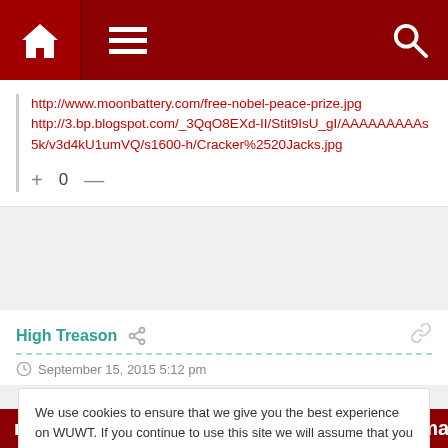[Figure (screenshot): Dark red navigation bar with home icon, hamburger menu icon, and search icon]
http://www.moonbattery.com/free-nobel-peace-prize.jpg
http://3.bp.blogspot.com/_3QqO8EXd-II/Stit9IsU_gI/AAAAAAAAAs5k/v3d4kU1umVQ/s1600-h/Cracker%2520Jacks.jpg
+ 0 —
High Treason
September 15, 2015 5:12 pm
We use cookies to ensure that we give you the best experience on WUWT. If you continue to use this site we will assume that you are happy with it. This notice is required by recently enacted EU GDPR rules, and since WUWT is a globally read website, we need to keep the bureaucrats off our case! Cookie Policy
Close and accept
repetition and more lies. "Make the lie big, make it simple,